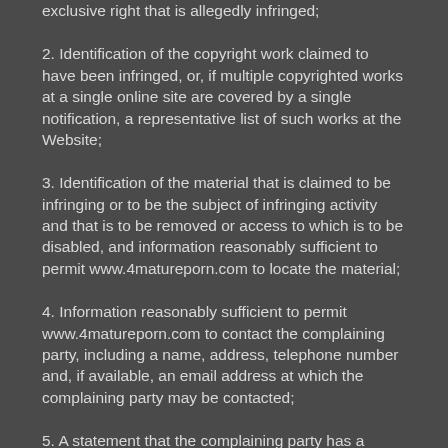exclusive right that is allegedly infringed;
2. Identification of the copyright work claimed to have been infringed, or, if multiple copyrighted works at a single online site are covered by a single notification, a representative list of such works at the Website;
3. Identification of the material that is claimed to be infringing or to be the subject of infringing activity and that is to be removed or access to which is to be disabled, and information reasonably sufficient to permit www.4matureporn.com to locate the material;
4. Information reasonably sufficient to permit www.4matureporn.com to contact the complaining party, including a name, address, telephone number and, if available, an email address at which the complaining party may be contacted;
5. A statement that the complaining party has a good-faith belief that use of the material in the manner complained of is not authorized by the copyright owner, its agent or the law; and